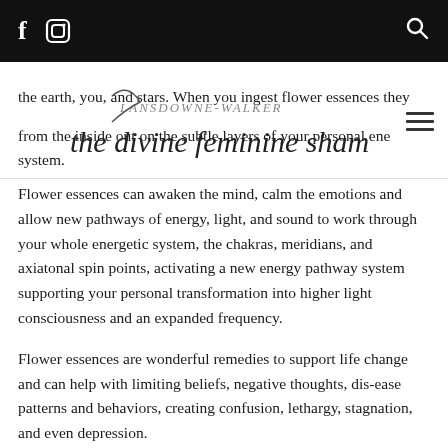f [instagram icon] [search icon]
the earth, you, and stars. When you ingest flower essences they from the inside out on the subtle layers of your personal ene system.
Flower essences can awaken the mind, calm the emotions and allow new pathways of energy, light, and sound to work through your whole energetic system, the chakras, meridians, and axiatonal spin points, activating a new energy pathway system supporting your personal transformation into higher light consciousness and an expanded frequency.
Flower essences are wonderful remedies to support life change and can help with limiting beliefs, negative thoughts, dis-ease patterns and behaviors, creating confusion, lethargy, stagnation, and even depression.
Pure Balance® Flower essences are handmade and wildcrafted